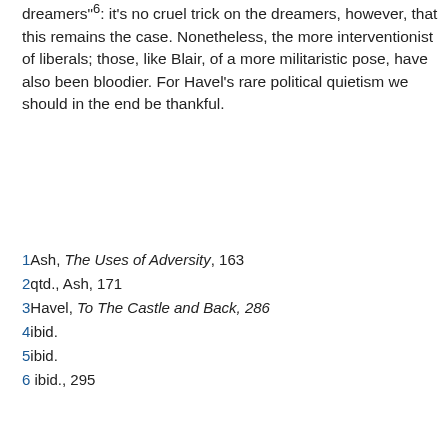dreamers"°: it's no cruel trick on the dreamers, however, that this remains the case. Nonetheless, the more interventionist of liberals; those, like Blair, of a more militaristic pose, have also been bloodier. For Havel's rare political quietism we should in the end be thankful.
1 Ash, The Uses of Adversity, 163
2 qtd., Ash, 171
3 Havel, To The Castle and Back, 286
4 ibid.
5 ibid.
6 ibid., 295
Adam Blanden at 04:40   No comments:
Share
Wednesday, 18 September 2013
The Weather in Budapest: Rain-Sleet-Snow with a Hint of Sludge